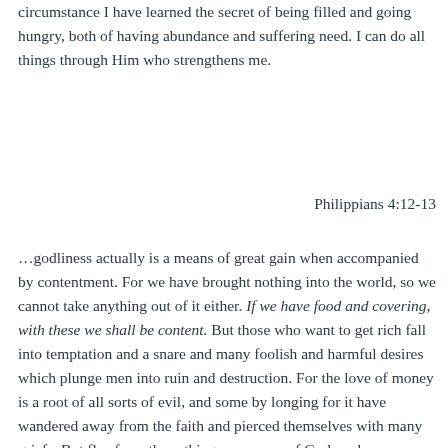circumstance I have learned the secret of being filled and going hungry, both of having abundance and suffering need. I can do all things through Him who strengthens me.
Philippians 4:12-13
…godliness actually is a means of great gain when accompanied by contentment. For we have brought nothing into the world, so we cannot take anything out of it either. If we have food and covering, with these we shall be content. But those who want to get rich fall into temptation and a snare and many foolish and harmful desires which plunge men into ruin and destruction. For the love of money is a root of all sorts of evil, and some by longing for it have wandered away from the faith and pierced themselves with many griefs. But flee from these things, you man of God, and pursu…